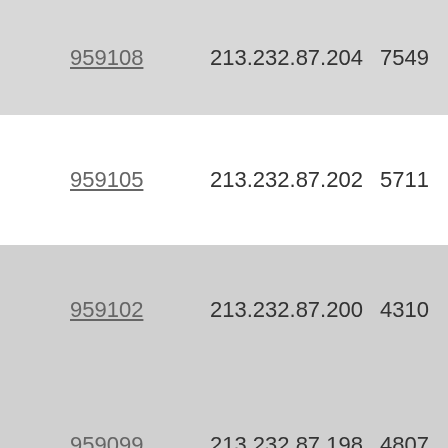| ID | IP Address | Col3 | Col4 | Col5 |
| --- | --- | --- | --- | --- |
| 959108 | 213.232.87.204 | 7549 | 52.35 | 4.9 |
| 959105 | 213.232.87.202 | 5711 | 52.35 | 4.9 |
| 959102 | 213.232.87.200 | 4310 | 52.35 | 4.9 |
| 959099 | 213.232.87.198 | 4807 | 52.35 | 4.9 |
| 959096 | 213.232.87.196 | 5469 | 52.35 | 4.9 |